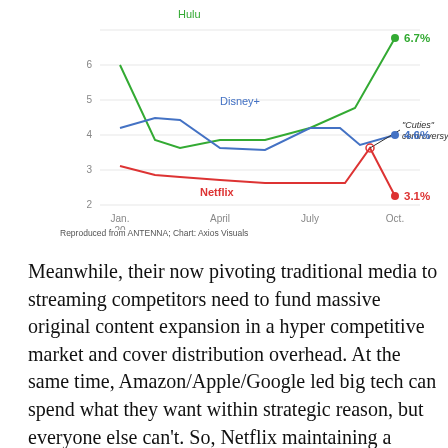[Figure (line-chart): ]
Reproduced from ANTENNA; Chart: Axios Visuals
Meanwhile, their now pivoting traditional media to streaming competitors need to fund massive original content expansion in a hyper competitive market and cover distribution overhead. At the same time, Amazon/Apple/Google led big tech can spend what they want within strategic reason, but everyone else can't. So, Netflix maintaining a monthly price that is 20% higher on avg than an annual subscription if their